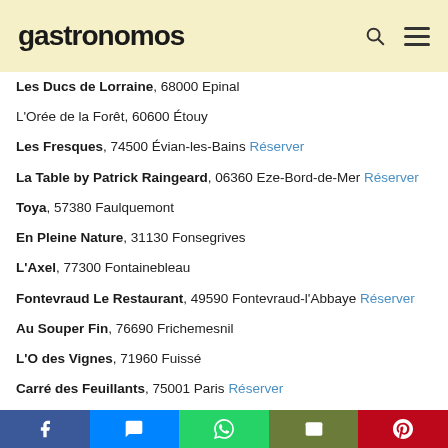gastronomos
Les Ducs de Lorraine, 68000 Epinal
L'Orée de la Forêt, 60600 Étouy
Les Fresques, 74500 Évian-les-Bains Réserver
La Table by Patrick Raingeard, 06360 Eze-Bord-de-Mer Réserver
Toya, 57380 Faulquemont
En Pleine Nature, 31130 Fonsegrives
L'Axel, 77300 Fontainebleau
Fontevraud Le Restaurant, 49590 Fontevraud-l'Abbaye Réserver
Au Souper Fin, 76690 Frichemesnil
L'O des Vignes, 71960 Fuissé
Carré des Feuillants, 75001 Paris Réserver
Jin, 75001 Paris Réserver
La Dame de Pic, 75001 Paris Réserver
**NEW** La Poule au Pot, 75001 Paris
Le Baudelaire, 75001 Paris Réserver
Le Ritz Paris, Les Jardins de l'Espadon, 75001 Paris Réserver
Facebook | Messenger | WhatsApp | Email | Pinterest